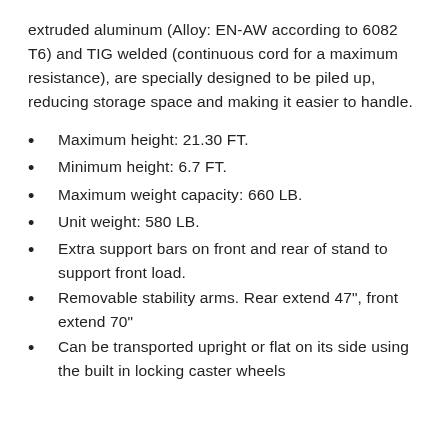extruded aluminum (Alloy: EN-AW according to 6082 T6) and TIG welded (continuous cord for a maximum resistance), are specially designed to be piled up, reducing storage space and making it easier to handle.
Maximum height: 21.30 FT.
Minimum height: 6.7 FT.
Maximum weight capacity: 660 LB.
Unit weight: 580 LB.
Extra support bars on front and rear of stand to support front load.
Removable stability arms. Rear extend 47", front extend 70"
Can be transported upright or flat on its side using the built in locking caster wheels